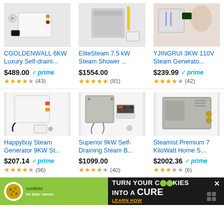[Figure (photo): CGOLDENWALL 6KW Luxury Self-draining steam generator product image]
CGOLDENWALL 6KW Luxury Self-draini...
$489.00 prime
★★★★☆ (43)
[Figure (photo): EliteSteam 7.5 kW Steam Shower product image]
EliteSteam 7.5 kW Steam Shower ...
$1554.00
★★★★★ (81)
[Figure (photo): YJINGRUI 3KW 110V Steam Generator product image]
YJINGRUI 3KW 110V Steam Generato...
$239.99 prime
★★★★☆ (42)
[Figure (photo): Happybuy Steam Generator 9KW steam product image]
Happybuy Steam Generator 9KW St...
$207.14 prime
★★★★☆ (96)
[Figure (photo): Superior 9kW Self-Draining Steam B... product image]
Superior 9kW Self-Draining Steam B...
$1099.00
★★★★☆ (40)
[Figure (photo): Steamist Premium 7 KiloWatt Home S... product image]
Steamist Premium 7 KiloWatt Home S…
$2002.36 prime
★★★☆☆ (6)
[Figure (infographic): Cookies for Kids Cancer banner - turn your cookies into a cure]